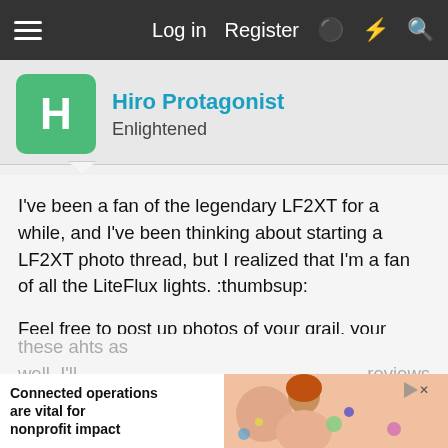Log in   Register
Hiro Protagonist
Enlightened
I've been a fan of the legendary LF2XT for a while, and I've been thinking about starting a LF2XT photo thread, but I realized that I'm a fan of all the LiteFlux lights. :thumbsup:
Feel free to post up photos of your grail, your EDC and anything in between. Stock, dressed up, modded, and custom lights are all welcome, even if they're posted in the Steve and Jeff tribute threads. I'll have to take some updated family photos soon.
It's a shame that newer members here may not be aware of these a[...] hts as well. I'll [...] reviews
[Figure (screenshot): Advertisement banner: 'Connected operations are vital for nonprofit impact' with image of a person]